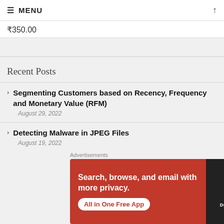≡ MENU ↑
₹350.00
Recent Posts
Segmenting Customers based on Recency, Frequency and Monetary Value (RFM)
August 29, 2022
Detecting Malware in JPEG Files
August 19, 2022
Speech Emotion Classification
[Figure (screenshot): DuckDuckGo advertisement banner with orange/red background showing 'Search, browse, and email with more privacy. All in One Free App' with DuckDuckGo logo on dark phone mockup]
Advertisements